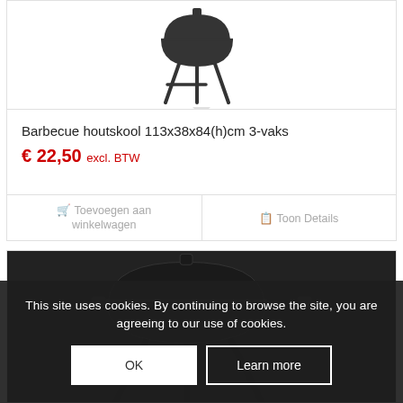[Figure (photo): Barbecue houtskool product image showing a charcoal BBQ grill silhouette on white background]
Barbecue houtskool 113x38x84(h)cm 3-vaks
€ 22,50 excl. BTW
Toevoegen aan winkelwagen
Toon Details
[Figure (photo): Second barbecue product image showing a dark/black charcoal BBQ grill]
This site uses cookies. By continuing to browse the site, you are agreeing to our use of cookies.
OK
Learn more